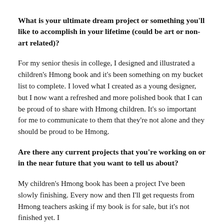What is your ultimate dream project or something you'll like to accomplish in your lifetime (could be art or non-art related)?
For my senior thesis in college, I designed and illustrated a children's Hmong book and it's been something on my bucket list to complete. I loved what I created as a young designer, but I now want a refreshed and more polished book that I can be proud of to share with Hmong children. It's so important for me to communicate to them that they're not alone and they should be proud to be Hmong.
Are there any current projects that you're working on or in the near future that you want to tell us about?
My children's Hmong book has been a project I've been slowly finishing. Every now and then I'll get requests from Hmong teachers asking if my book is for sale, but it's not finished yet. I